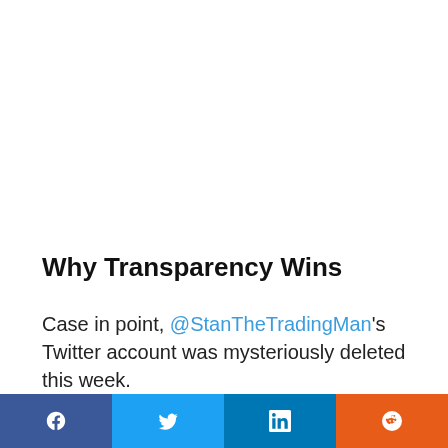Why Transparency Wins
Case in point, @StanTheTradingMan's Twitter account was mysteriously deleted this week.
This website uses cookies.
Social share bar: Facebook, Twitter, LinkedIn, Reddit